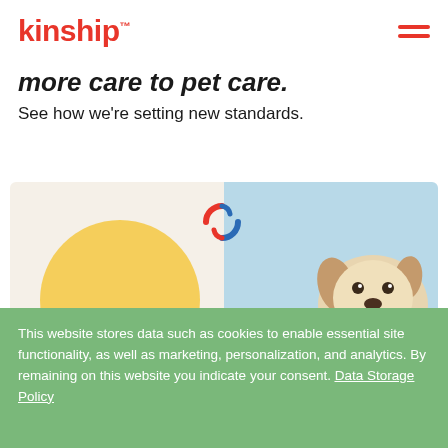kinship
more care to pet care.
See how we're setting new standards.
[Figure (illustration): Kinship branded image showing a yellow circle with colorful Kinship icon/logo in the center, set against a split background — left side light cream with yellow arc shape and brown dots, right side light blue with a white and brown dog smiling.]
This website stores data such as cookies to enable essential site functionality, as well as marketing, personalization, and analytics. By remaining on this website you indicate your consent. Data Storage Policy